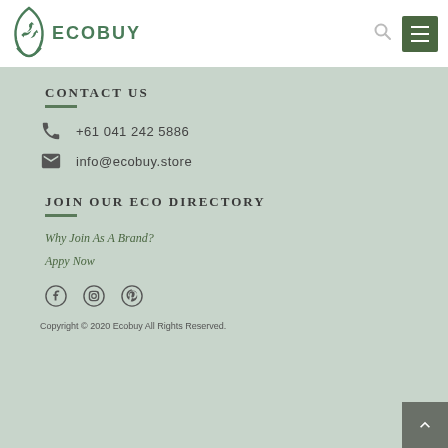ECOBUY
CONTACT US
+61 041 242 5886
info@ecobuy.store
JOIN OUR ECO DIRECTORY
Why Join As A Brand?
Appy Now
[Figure (other): Social media icons: Facebook, Instagram, Pinterest]
Copyright © 2020 Ecobuy All Rights Reserved.